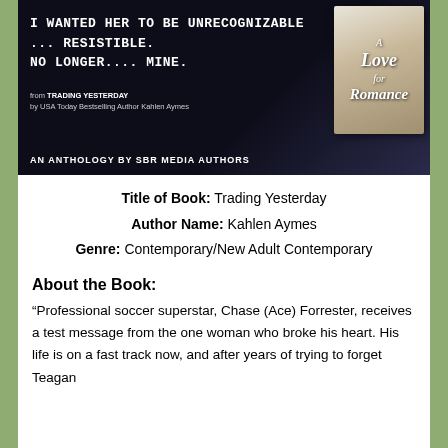[Figure (illustration): Promotional banner for 'A Love for Romance' anthology. Dark background with white handwritten-style text: 'I WANTED HER TO BE UNRECOGNIZABLE ... RESISTIBLE. NO LONGER.... MINE.' Below: 'from TRADING YESTERDAY by USA Today Bestselling Author Kahlen Aymes'. Bottom: 'AN ANTHOLOGY BY SBR MEDIA AUTHORS'. Right side shows a book cover with a romantic couple and the title 'A Love for Romance'.]
Title of Book: Trading Yesterday
Author Name: Kahlen Aymes
Genre: Contemporary/New Adult Contemporary
About the Book:
“Professional soccer superstar, Chase (Ace) Forrester, receives a test message from the one woman who broke his heart. His life is on a fast track now, and after years of trying to forget Teagan